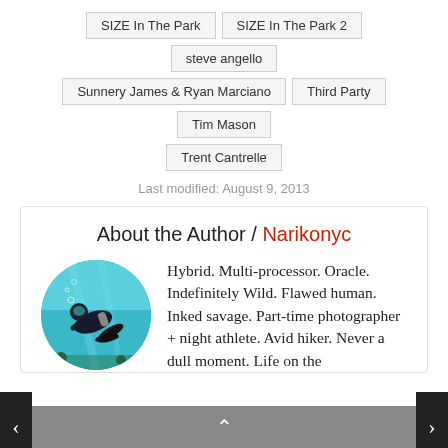SIZE In The Park
SIZE In The Park 2
steve angello
Sunnery James & Ryan Marciano
Third Party
Tim Mason
Trent Cantrelle
Last modified: August 9, 2013
About the Author / Narikonyc
[Figure (photo): Circular profile photo of a scuba diver underwater with blue water background]
Hybrid. Multi-processor. Oracle. Indefinitely Wild. Flawed human. Inked savage. Part-time photographer + night athlete. Avid hiker. Never a dull moment. Life on the